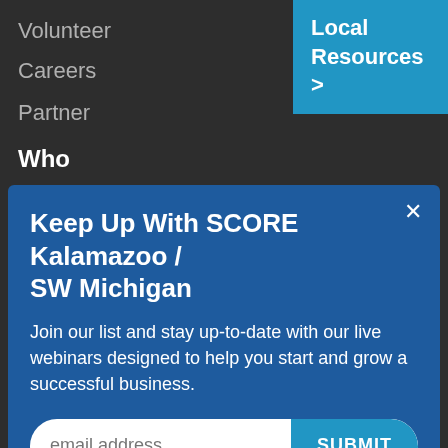Volunteer
Careers
Partner
Who
[Figure (screenshot): Blue button in top right corner reading 'Local Resources >']
Keep Up With SCORE Kalamazoo / SW Michigan
Join our list and stay up-to-date with our live webinars designed to help you start and grow a successful business.
email address  SUBMIT
Stories
Annual
Report